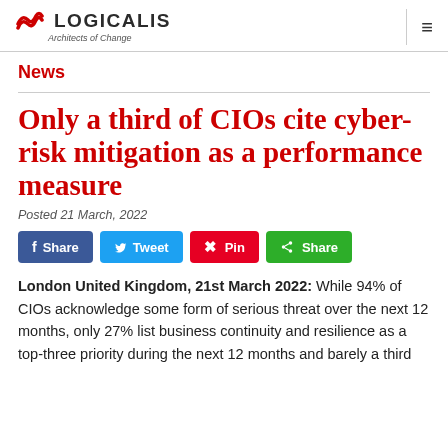LOGICALIS Architects of Change
News
Only a third of CIOs cite cyber-risk mitigation as a performance measure
Posted 21 March, 2022
Share  Tweet  Pin  Share
London United Kingdom, 21st March 2022: While 94% of CIOs acknowledge some form of serious threat over the next 12 months, only 27% list business continuity and resilience as a top-three priority during the next 12 months and barely a third